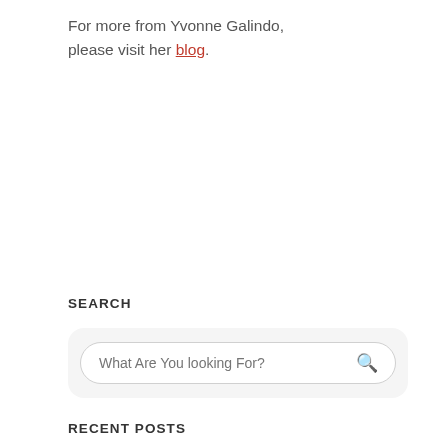For more from Yvonne Galindo, please visit her blog.
SEARCH
What Are You looking For?
RECENT POSTS